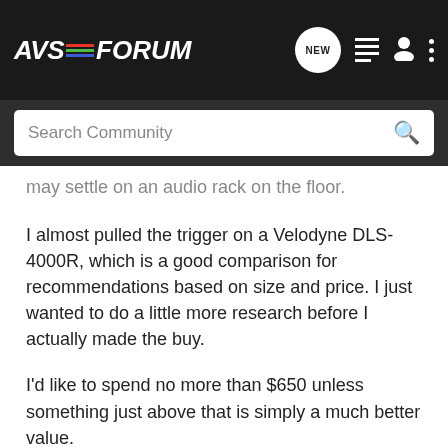AVS FORUM - Search Community
may settle on an audio rack on the floor.
I almost pulled the trigger on a Velodyne DLS-4000R, which is a good comparison for recommendations based on size and price. I just wanted to do a little more research before I actually made the buy.
I'd like to spend no more than $650 unless something just above that is simply a much better value.
So wha
[Figure (screenshot): SVS SoundPath Audio Accessories advertisement banner with learn more button]